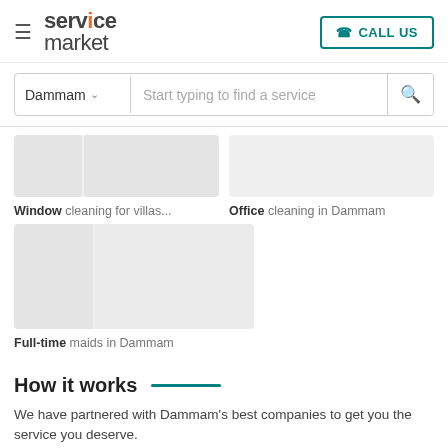service market
Start typing to find a service
Window cleaning for villas...
Office cleaning in Dammam
[Figure (photo): Three placeholder image tiles for window cleaning for villas service]
[Figure (photo): Placeholder image tile for office cleaning in Dammam service]
[Figure (photo): Two placeholder image tiles for full-time maids in Dammam service]
Full-time maids in Dammam
How it works
We have partnered with Dammam's best companies to get you the service you deserve.